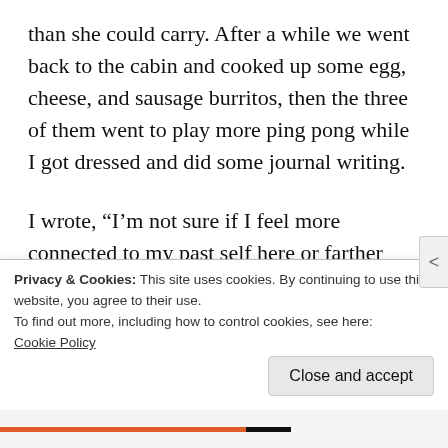than she could carry. After a while we went back to the cabin and cooked up some egg, cheese, and sausage burritos, then the three of them went to play more ping pong while I got dressed and did some journal writing.
I wrote, “I’m not sure if I feel more connected to my past self here or farther away from her. Maybe more connected, actually. Like the land is a direct tie between us, without the intervening space and time. Like I could run
Privacy & Cookies: This site uses cookies. By continuing to use this website, you agree to their use.
To find out more, including how to control cookies, see here:
Cookie Policy
Close and accept